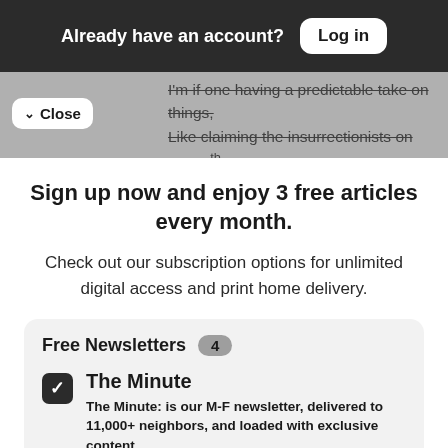Already have an account? Log in
I'm if one having a predictable take on things, Like claiming the insurrectionists on Jan 6 th were a nice peaceful bunch of tourist,( I have
Close
Sign up now and enjoy 3 free articles every month.
Check out our subscription options for unlimited digital access and print home delivery.
Free Newsletters 4
The Minute
The Minute: is our M-F newsletter, delivered to 11,000+ neighbors, and loaded with exclusive content